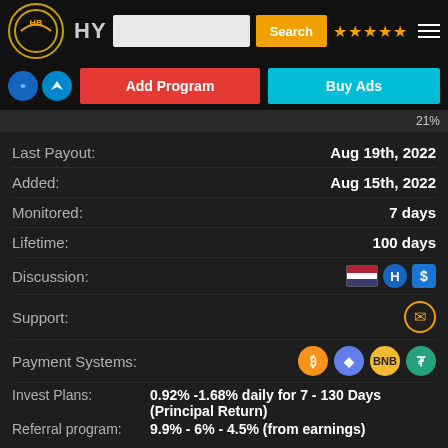HY [search bar] Search | Add Program | Buy Ads
Last Payout: Aug 19th, 2022
Added: Aug 15th, 2022
Monitored: 7 days
Lifetime: 100 days
Discussion: [icons]
Support: [email icon]
Payment Systems: [BTC] [ETH] [BNB] [USDT]
Invest Plans: 0.92% -1.68% daily for 7 - 130 Days (Principal Return)
Referral program: 9.9% - 6% - 4.5% (from earnings)
Details | Vote Now | Payouts | Traffic | Whois | Scam | Request RCB | Get Code | Bookmark